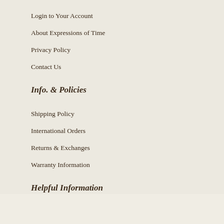Login to Your Account
About Expressions of Time
Privacy Policy
Contact Us
Info. & Policies
Shipping Policy
International Orders
Returns & Exchanges
Warranty Information
Helpful Information
Expressions of Time Blog
Manufacturers
Audio Files for Chiming Clocks
Back to top
If you do not see a specific model, manufacturer or style, call